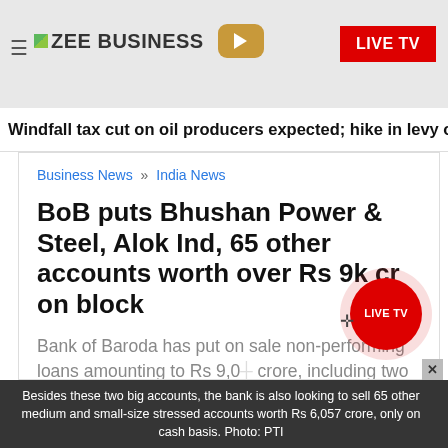ZEE BUSINESS | LIVE TV
Windfall tax cut on oil producers expected; hike in levy on ATF, dies
Business News » India News
BoB puts Bhushan Power & Steel, Alok Ind, 65 other accounts worth over Rs 9k cr on block
Bank of Baroda has put on sale non-performing loans amounting to Rs 9,0... crore, including two large accounts - Bhushan Power & Steel and Alok Industries.
Besides these two big accounts, the bank is also looking to sell 65 other medium and small-size stressed accounts worth Rs 6,057 crore, only on cash basis. Photo: PTI